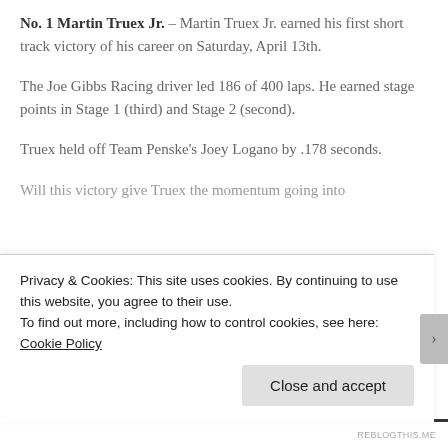No. 1 Martin Truex Jr. – Martin Truex Jr. earned his first short track victory of his career on Saturday, April 13th.
The Joe Gibbs Racing driver led 186 of 400 laps. He earned stage points in Stage 1 (third) and Stage 2 (second).
Truex held off Team Penske's Joey Logano by .178 seconds.
Will this victory give Truex the momentum going into
Privacy & Cookies: This site uses cookies. By continuing to use this website, you agree to their use.
To find out more, including how to control cookies, see here: Cookie Policy